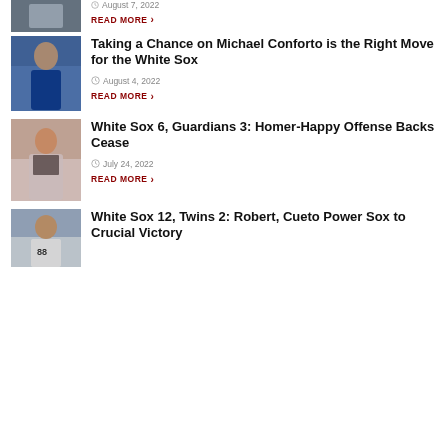August 7, 2022
READ MORE
Taking a Chance on Michael Conforto is the Right Move for the White Sox
August 4, 2022
READ MORE
White Sox 6, Guardians 3: Homer-Happy Offense Backs Cease
July 24, 2022
READ MORE
White Sox 12, Twins 2: Robert, Cueto Power Sox to Crucial Victory